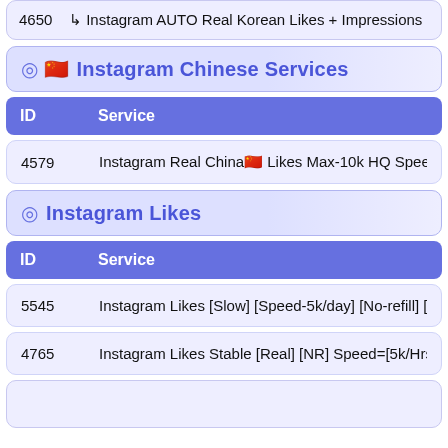4650  ↳ Instagram AUTO Real Korean Likes + Impressions
📷 🇨🇳 Instagram Chinese Services
| ID | Service |
| --- | --- |
| 4579 | Instagram Real China🇨🇳 Likes Max-10k HQ Speed~1k/ |
📷 Instagram Likes
| ID | Service |
| --- | --- |
| 5545 | Instagram Likes [Slow] [Speed-5k/day] [No-refill] [M |
| 4765 | Instagram Likes Stable [Real] [NR] Speed=[5k/Hrs] [ |